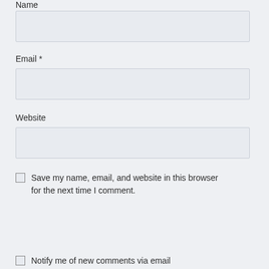Name
Email *
Website
Save my name, email, and website in this browser for the next time I comment.
Notify me of new comments via email